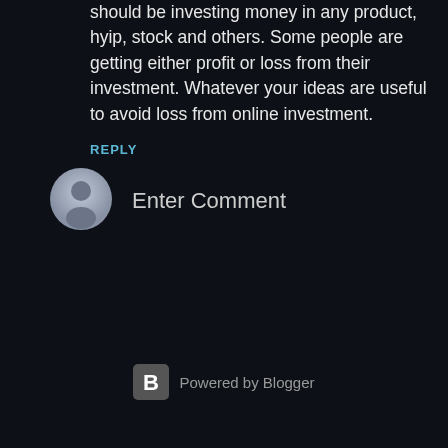should be investing money in any product, hyip, stock and others. Some people are getting either profit or loss from their investment. Whatever your ideas are useful to avoid loss from online investment.
REPLY
[Figure (illustration): Generic user avatar icon — gray circle with silhouette of a person]
Enter Comment
Powered by Blogger